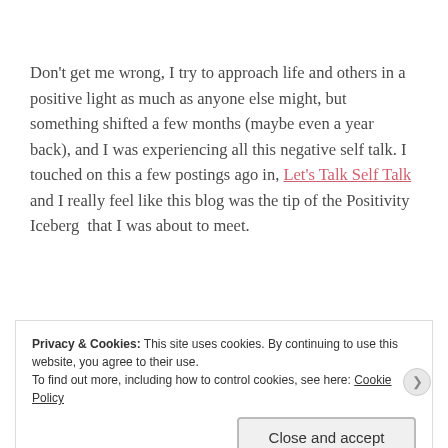Don't get me wrong, I try to approach life and others in a positive light as much as anyone else might, but something shifted a few months (maybe even a year back), and I was experiencing all this negative self talk. I touched on this a few postings ago in, Let's Talk Self Talk and I really feel like this blog was the tip of the Positivity Iceberg  that I was about to meet.
(Positivity Iceberg, noun: a made up
Privacy & Cookies: This site uses cookies. By continuing to use this website, you agree to their use.
To find out more, including how to control cookies, see here: Cookie Policy
Close and accept